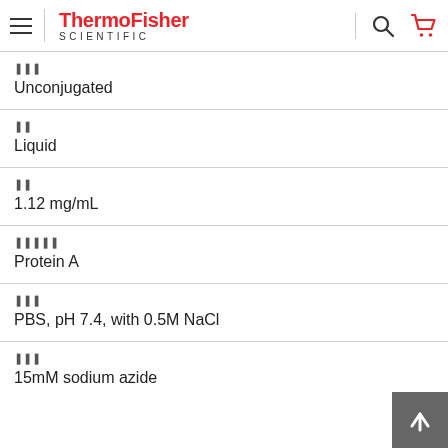ThermoFisher SCIENTIFIC
??? Unconjugated
?? Liquid
?? 1.12 mg/mL
????? Protein A
??? PBS, pH 7.4, with 0.5M NaCl
??? 15mM sodium azide